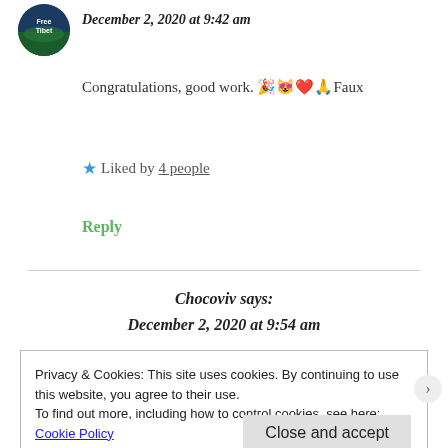[Figure (photo): Circular avatar with 'Free Tibet' text and landscape image]
December 2, 2020 at 9:42 am
Congratulations, good work. 🎉😻❤️🙏Faux
★ Liked by 4 people
Reply
Chocoviv says:
December 2, 2020 at 9:54 am
Privacy & Cookies: This site uses cookies. By continuing to use this website, you agree to their use.
To find out more, including how to control cookies, see here: Cookie Policy
Close and accept